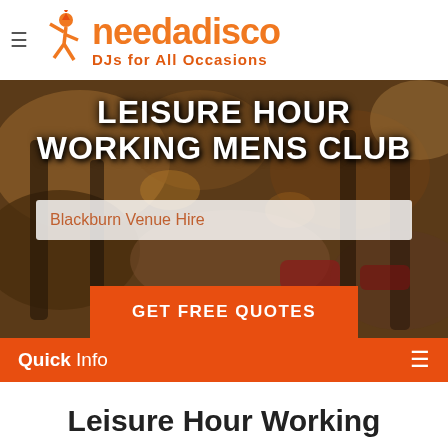[Figure (logo): needadisco logo with dancing figure icon and text 'needadisco DJs for All Occasions']
[Figure (photo): Hero banner showing blurred interior of Leisure Hour Working Mens Club with text overlay: 'LEISURE HOUR WORKING MENS CLUB', a search input 'Blackburn Venue Hire', and a button 'GET FREE QUOTES']
Quick Info
Leisure Hour Working